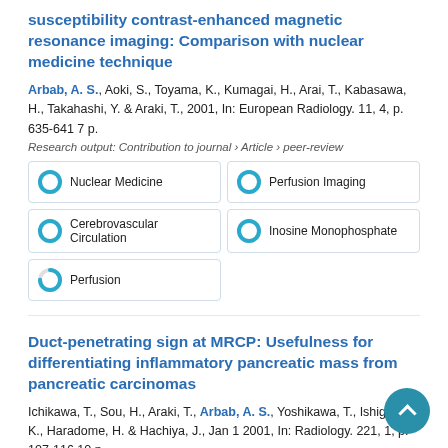susceptibility contrast-enhanced magnetic resonance imaging: Comparison with nuclear medicine technique
Arbab, A. S., Aoki, S., Toyama, K., Kumagai, H., Arai, T., Kabasawa, H., Takahashi, Y. & Araki, T., 2001, In: European Radiology. 11, 4, p. 635-641 7 p.
Research output: Contribution to journal › Article › peer-review
[Figure (infographic): Five keyword badge buttons arranged in a 2-column grid: Nuclear Medicine (100% filled donut), Perfusion Imaging (100% filled donut), Cerebrovascular Circulation (100% filled donut), Inosine Monophosphate (100% filled donut), Perfusion (75% filled donut)]
Duct-penetrating sign at MRCP: Usefulness for differentiating inflammatory pancreatic mass from pancreatic carcinomas
Ichikawa, T., Sou, H., Araki, T., Arbab, A. S., Yoshikawa, T., Ishigame, K., Haradome, H. & Hachiya, J., Jan 1 2001, In: Radiology. 221, 1, p. 107-116 10 p.
Research output: Contribution to journal › Article › peer-review